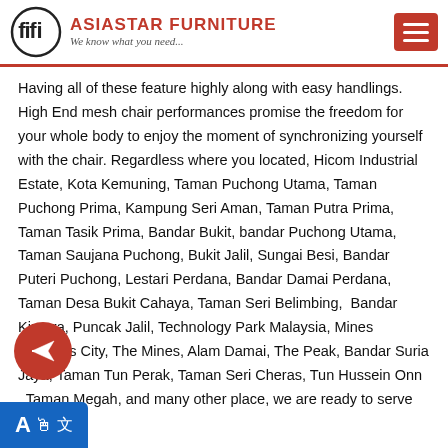ASIASTAR FURNITURE — We know what you need...
Having all of these feature highly along with easy handlings. High End mesh chair performances promise the freedom for your whole body to enjoy the moment of synchronizing yourself with the chair. Regardless where you located, Hicom Industrial Estate, Kota Kemuning, Taman Puchong Utama, Taman Puchong Prima, Kampung Seri Aman, Taman Putra Prima, Taman Tasik Prima, Bandar Bukit, bandar Puchong Utama, Taman Saujana Puchong, Bukit Jalil, Sungai Besi, Bandar Puteri Puchong, Lestari Perdana, Bandar Damai Perdana, Taman Desa Bukit Cahaya, Taman Seri Belimbing,  Bandar Kinrara, Puncak Jalil, Technology Park Malaysia, Mines Wellness City, The Mines, Alam Damai, The Peak, Bandar Suria Jaya, Taman Tun Perak, Taman Seri Cheras, Tun Hussein Onn , Taman Megah, and many other place, we are ready to serve you!